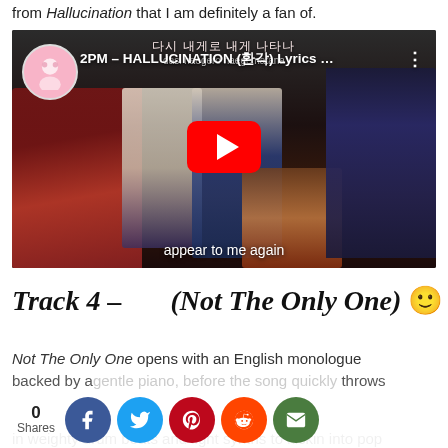from Hallucination that I am definitely a fan of.
[Figure (screenshot): YouTube video thumbnail for '2PM - HALLUCINATION (환각) Lyrics ...' showing 2PM members posed in a dark room setting, with a red YouTube play button in the center, Korean text at the top reading '다시 내게로 내게 나타나 / dasi naegero naege natana', and subtitle 'appear to me again' at the bottom.]
Track 4 - (Not The Only One) 😊
Not The Only One opens with an English monologue backed by a gentle piano, before the song quickly throws in weighty drum beats and light synths to kickin into pop
[Figure (infographic): Social share bar showing 0 Shares count, followed by circular share buttons: Facebook (blue), Twitter (light blue), Pinterest (red), Reddit (orange-red), Email (green).]